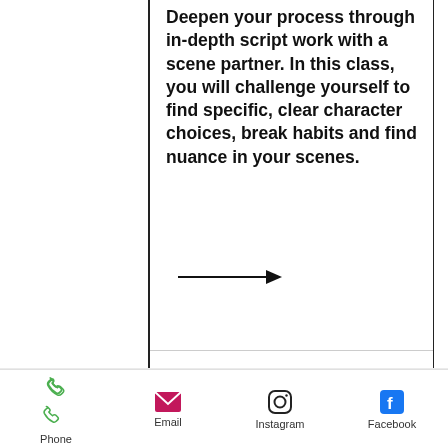Deepen your process through in-depth script work with a scene partner. In this class, you will challenge yourself to find specific, clear character choices, break habits and find nuance in your scenes.
[Figure (other): Arrow pointing right (→)]
02.
ON-CAMERA CLASS - BEGINNER & ADVANCED OPTIONS
Join us for a practical approach to acting on camera - learn how to keep your acting real, connected and believable. In the beginner class, you
Phone  Email  Instagram  Facebook